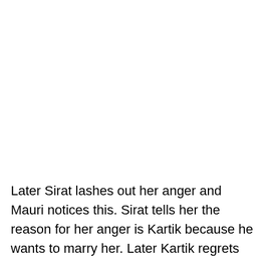Later Sirat lashes out her anger and Mauri notices this. Sirat tells her the reason for her anger is Kartik because he wants to marry her. Later Kartik regrets